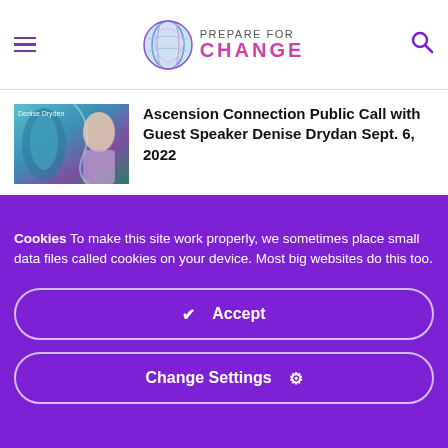PREPARE FOR CHANGE
Ascension Connection Public Call with Guest Speaker Denise Drydan Sept. 6, 2022
New Documents Show Clear Big Tech-Government Collusion
Cookies To make this site work properly, we sometimes place small data files called cookies on your device. Most big websites do this too.
✔ Accept
Change Settings ⚙